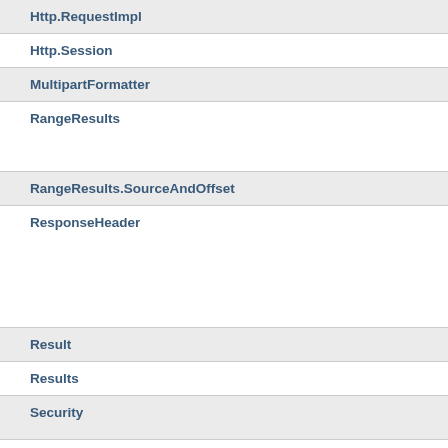Http.RequestImpl
Http.Session
MultipartFormatter
RangeResults
RangeResults.SourceAndOffset
ResponseHeader
Result
Results
Security
Security.AuthenticatedAction